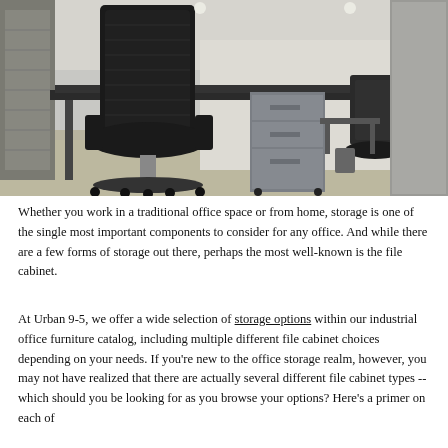[Figure (photo): Office interior photo showing a black ergonomic mesh office chair on wheels in the foreground, a dark desk with a gray pedestal file cabinet with multiple drawers, additional chairs and desks in the background, and a large gray storage cabinet on the right side. The floor is carpeted in light beige/gray. The room has white walls and ceiling with recessed lighting.]
Whether you work in a traditional office space or from home, storage is one of the single most important components to consider for any office. And while there are a few forms of storage out there, perhaps the most well-known is the file cabinet.
At Urban 9-5, we offer a wide selection of storage options within our industrial office furniture catalog, including multiple different file cabinet choices depending on your needs. If you're new to the office storage realm, however, you may not have realized that there are actually several different file cabinet types -- which should you be looking for as you browse your options? Here's a primer on each of the most important ones commonly used within the office.